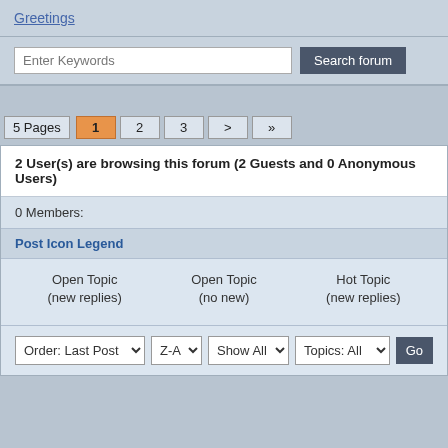Greetings
Enter Keywords
Search forum
5 Pages  1  2  3  >  »
2 User(s) are browsing this forum (2 Guests and 0 Anonymous Users)
0 Members:
Post Icon Legend
Open Topic (new replies)
Open Topic (no new)
Hot Topic (new replies)
Order: Last Post  Z-A  Show All  Topics: All  Go